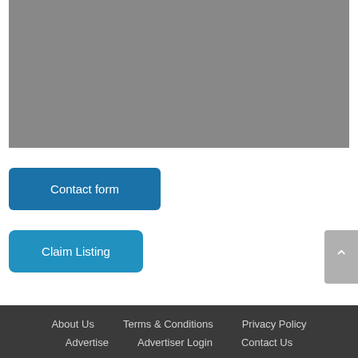[Figure (other): Gray placeholder rectangle at the top of the page]
Contact form
Claim Listing
About Us   Terms & Conditions   Privacy Policy   Advertise   Advertiser Login   Contact Us